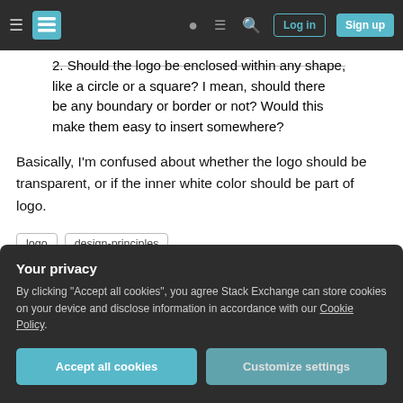Stack Exchange navigation bar with hamburger menu, logo, help, chat, search icons, Log in and Sign up buttons
2. Should the logo be enclosed within any shape, like a circle or a square? I mean, should there be any boundary or border or not? Would this make them easy to insert somewhere?
Basically, I'm confused about whether the logo should be transparent, or if the inner white color should be part of logo.
logo
design-principles
Sh
Your privacy
By clicking "Accept all cookies", you agree Stack Exchange can store cookies on your device and disclose information in accordance with our Cookie Policy.
Accept all cookies
Customize settings